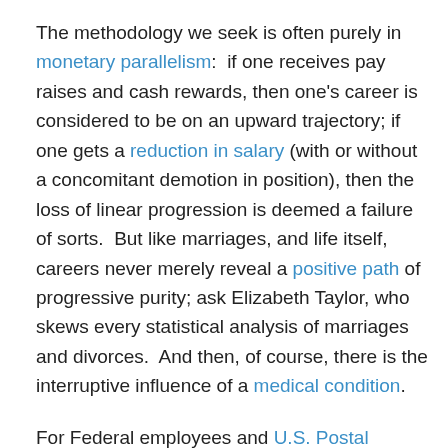The methodology we seek is often purely in monetary parallelism:  if one receives pay raises and cash rewards, then one's career is considered to be on an upward trajectory; if one gets a reduction in salary (with or without a concomitant demotion in position), then the loss of linear progression is deemed a failure of sorts.  But like marriages, and life itself, careers never merely reveal a positive path of progressive purity; ask Elizabeth Taylor, who skews every statistical analysis of marriages and divorces.  And then, of course, there is the interruptive influence of a medical condition.
For Federal employees and U.S. Postal workers, the daunting doldrums of a medical disability reveals many things not reflected on a graph of life:  the bother; the interruption of a career; the fear imposed; the dealings